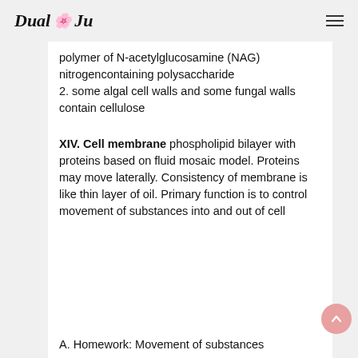Dual Ju
polymer of N-acetylglucosamine (NAG) nitrogencontaining polysaccharide
2. some algal cell walls and some fungal walls contain cellulose
XIV. Cell membrane phospholipid bilayer with proteins based on fluid mosaic model. Proteins may move laterally. Consistency of membrane is like thin layer of oil. Primary function is to control movement of substances into and out of cell
A. Homework: Movement of substances